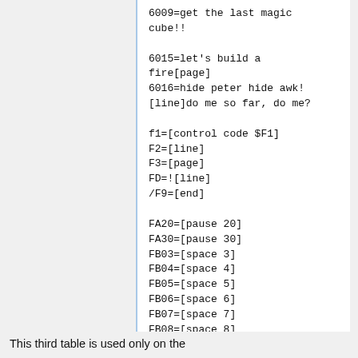6009=get the last magic cube!!

6015=let's build a fire[page]
6016=hide peter hide awk![line]do me so far, do me?

f1=[control code $F1]
F2=[line]
F3=[page]
FD=![line]
/F9=[end]

FA20=[pause 20]
FA30=[pause 30]
FB03=[space 3]
FB04=[space 4]
FB05=[space 5]
FB06=[space 6]
FB07=[space 7]
FB08=[space 8]
This third table is used only on the